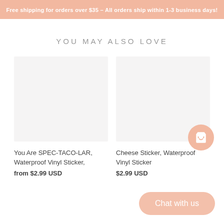Free shipping for orders over $35 – All orders ship within 1-3 business days!
YOU MAY ALSO LOVE
[Figure (photo): Product image placeholder for You Are SPEC-TACO-LAR Waterproof Vinyl Sticker]
You Are SPEC-TACO-LAR, Waterproof Vinyl Sticker,
from $2.99 USD
[Figure (photo): Product image placeholder for Cheese Sticker Waterproof Vinyl Sticker with cart button overlay]
Cheese Sticker, Waterproof Vinyl Sticker
$2.99 USD